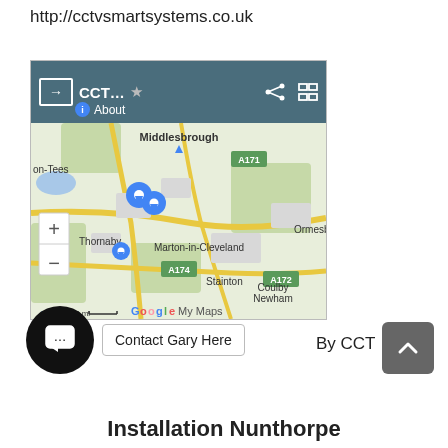http://cctvsmartsystems.co.uk
[Figure (screenshot): Google Maps screenshot showing Middlesbrough area with CCT... marker, showing Thornaby, Marton-in-Cleveland, Ormesb(y), Stainton, Coulby Newham areas, road labels A171, A174, A172, zoom controls, Google My Maps branding, Terms link, 2 mi scale bar]
Contact Gary Here
By CCT
Installation Nunthorpe